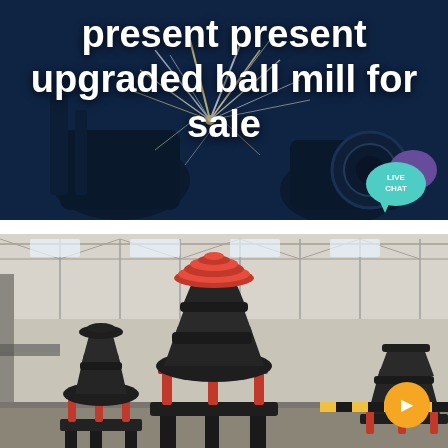[Figure (photo): Dark industrial banner with sparks flying from welding/grinding equipment, dark blue background with machinery silhouettes]
present present upgraded ball mill for sale
[Figure (photo): Industrial factory floor with large cone crusher machines in black and red, multiple units visible inside a large warehouse with steel roof structure]